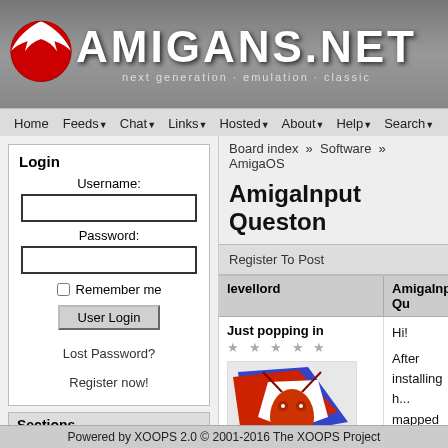[Figure (logo): Amigans.net website header with logo ball and site title]
Home  Feeds  Chat  Links  Hosted  About  Help  Search
Board index » Software » AmigaOS
AmigaInput Queston
Login
Username:
Password:
Remember me
User Login
Lost Password?
Register now!
Sections
Home
Forums
News
User Profile
Headlines
Register To Post
levellord
AmigaInput Qu
Just popping in
Hi!

After installing h... mapped proper... I looked into the... and while there... is no problem w...

While playing s... appears that it... the Button 3 wh...
[Figure (illustration): Red insect/mantis avatar image with blue and red wings]
Powered by XOOPS 2.0 © 2001-2016 The XOOPS Project